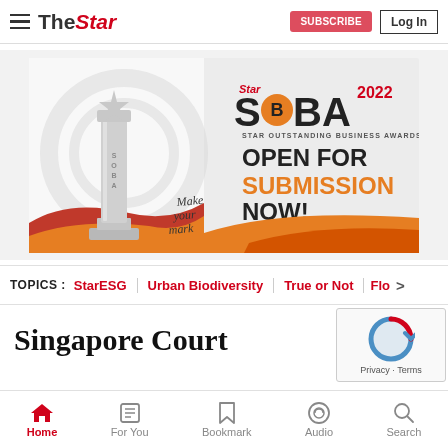The Star — navigation bar with hamburger menu, logo, subscribe button, Log In button
[Figure (infographic): Star SOBA 2022 advertisement banner — Star Outstanding Business Awards, Open for Submission Now! Make your mark. Shows a silver SOBA award trophy on the left with decorative red/orange wave background.]
TOPICS : StarESG | Urban Biodiversity | True or Not | Flo >
Singapore Court
Home | For You | Bookmark | Audio | Search